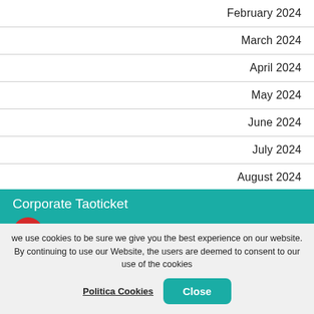February 2024
March 2024
April 2024
May 2024
June 2024
July 2024
August 2024
Corporate Taoticket
[Figure (logo): Taoticket Network logo: red circle with stylized white figure, taoticket text, network subtitle]
we use cookies to be sure we give you the best experience on our website. By continuing to use our Website, the users are deemed to consent to our use of the cookies
Politica Cookies
Close